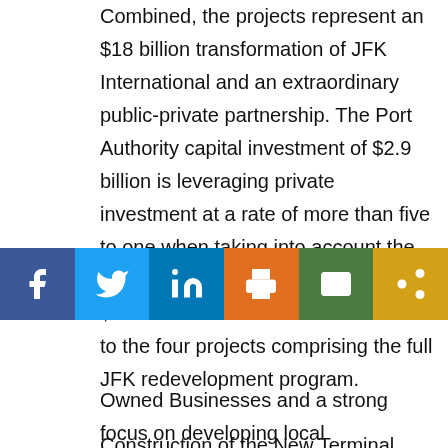Combined, the projects represent an $18 billion transformation of JFK International and an extraordinary public-private partnership. The Port Authority capital investment of $2.9 billion is leveraging private investment at a rate of more than five to one when taking into account the full private investment of more than $15 billion that has been committed to the four projects comprising the full JFK redevelopment program.
Construction of the New Terminal One will create at least 10,000 jobs, including 6,000 construction jobs. Ferrovial and its partners at the New Terminal One are also committed to the Port Authority goal of 30- owned Businesses and a strong focus on developing local businesses.
[Figure (other): Social media sharing bar with buttons for Facebook, Twitter, LinkedIn, Print, Email, and Share/link icons]